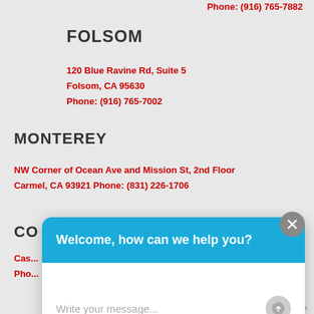Phone: (916) 765-7882
FOLSOM
120 Blue Ravine Rd, Suite 5
Folsom, CA 95630
Phone: (916) 765-7002
MONTEREY
NW Corner of Ocean Ave and Mission St, 2nd Floor
Carmel, CA 93921 Phone: (831) 226-1706
CO...
Cas...
Pho...
[Figure (screenshot): Chat widget overlay with blue header saying 'Welcome, how can we help you?' and white body with 'Write your message...' placeholder text and a send button. A grey close (X) button appears in the top-right corner of the overlay.]